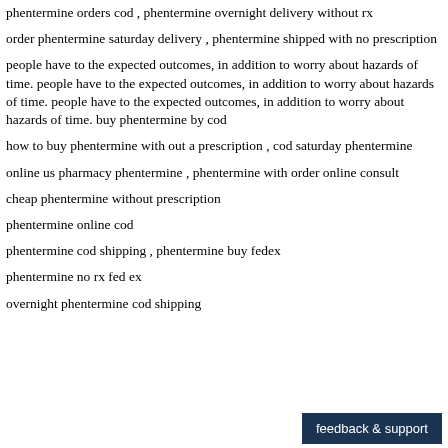phentermine orders cod , phentermine overnight delivery without rx
order phentermine saturday delivery , phentermine shipped with no prescription
people have to the expected outcomes, in addition to worry about hazards of time. people have to the expected outcomes, in addition to worry about hazards of time. people have to the expected outcomes, in addition to worry about hazards of time. buy phentermine by cod
how to buy phentermine with out a prescription , cod saturday phentermine
online us pharmacy phentermine , phentermine with order online consult
cheap phentermine without prescription
phentermine online cod
phentermine cod shipping , phentermine buy fedex
phentermine no rx fed ex
overnight phentermine cod shipping
[Figure (other): feedback & support button (dark navy background, white text)]